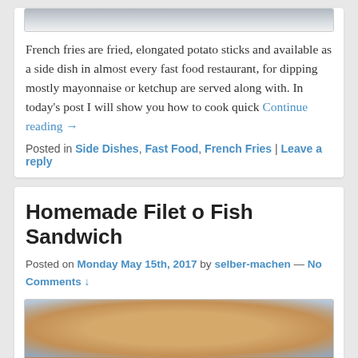[Figure (photo): Partial image of french fries at top of first card]
French fries are fried, elongated potato sticks and available as a side dish in almost every fast food restaurant, for dipping mostly mayonnaise or ketchup are served along with. In today’s post I will show you how to cook quick Continue reading →
Posted in Side Dishes, Fast Food, French Fries | Leave a reply
Homemade Filet o Fish Sandwich
Posted on Monday May 15th, 2017 by selber-machen — No Comments ↓
[Figure (photo): Photo of a homemade Filet o Fish sandwich on a bun with orange breaded fish patty and white sauce visible]